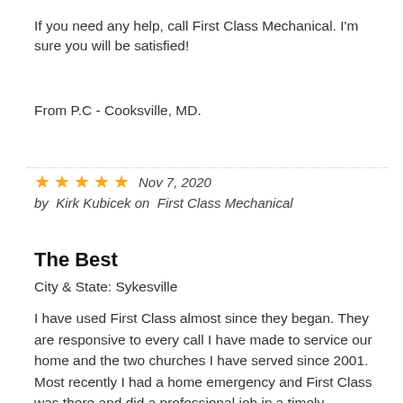If you need any help, call First Class Mechanical. I'm sure you will be satisfied!
From P.C - Cooksville, MD.
★★★★★  Nov 7, 2020
by  Kirk Kubicek on  First Class Mechanical
The Best
City & State: Sykesville
I have used First Class almost since they began. They are responsive to every call I have made to service our home and the two churches I have served since 2001. Most recently I had a home emergency and First Class was there and did a professional job in a timely manner. Whether it is home plumbing or commercial installations of furnaces and a chiller, First Class is the first call I make every time. Thank you all for being the